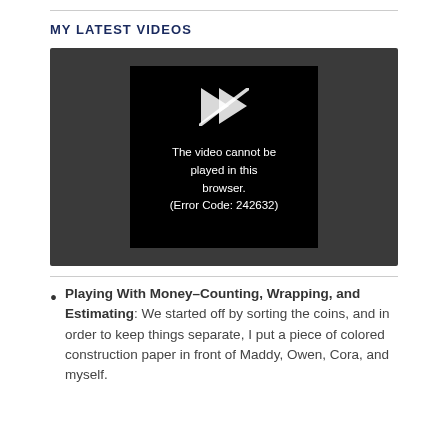MY LATEST VIDEOS
[Figure (screenshot): Video player showing error message: 'The video cannot be played in this browser. (Error Code: 242632)' with a broken play icon on black background.]
Playing With Money–Counting, Wrapping, and Estimating: We started off by sorting the coins, and in order to keep things separate, I put a piece of colored construction paper in front of Maddy, Owen, Cora, and myself.